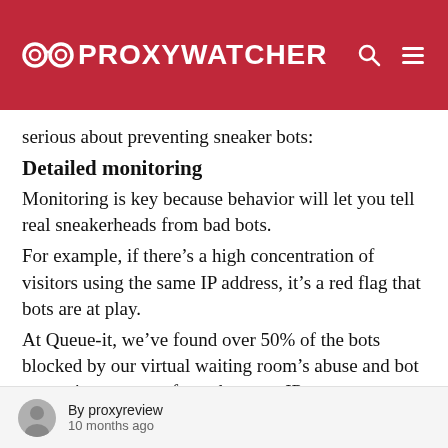PROXYWATCHER
serious about preventing sneaker bots:
Detailed monitoring
Monitoring is key because behavior will let you tell real sneakerheads from bad bots.
For example, if there’s a high concentration of visitors using the same IP address, it’s a red flag that bots are at play.
At Queue-it, we’ve found over 50% of the bots blocked by our virtual waiting room’s abuse and bot protection emanate from the same IP
By proxyreview
10 months ago